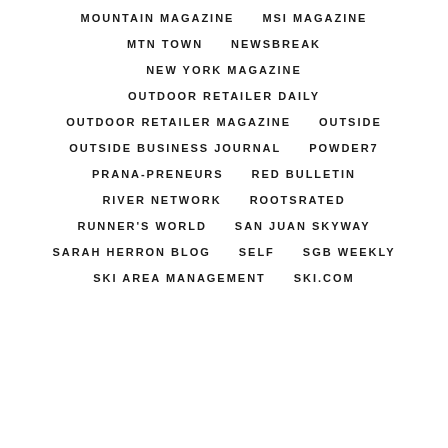MOUNTAIN MAGAZINE
MSI MAGAZINE
MTN TOWN
NEWSBREAK
NEW YORK MAGAZINE
OUTDOOR RETAILER DAILY
OUTDOOR RETAILER MAGAZINE
OUTSIDE
OUTSIDE BUSINESS JOURNAL
POWDER7
PRANA-PRENEURS
RED BULLETIN
RIVER NETWORK
ROOTSRATED
RUNNER'S WORLD
SAN JUAN SKYWAY
SARAH HERRON BLOG
SELF
SGB WEEKLY
SKI AREA MANAGEMENT
SKI.COM